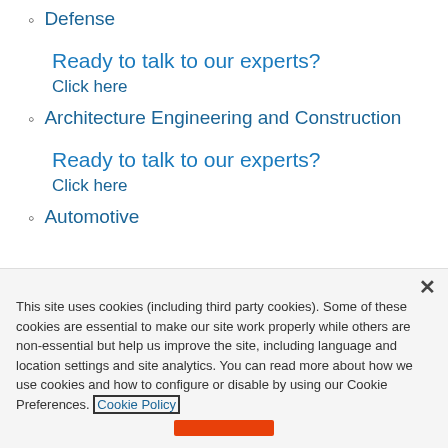Defense
Ready to talk to our experts?
Click here
Architecture Engineering and Construction
Ready to talk to our experts?
Click here
Automotive
This site uses cookies (including third party cookies). Some of these cookies are essential to make our site work properly while others are non-essential but help us improve the site, including language and location settings and site analytics. You can read more about how we use cookies and how to configure or disable by using our Cookie Preferences. Cookie Policy